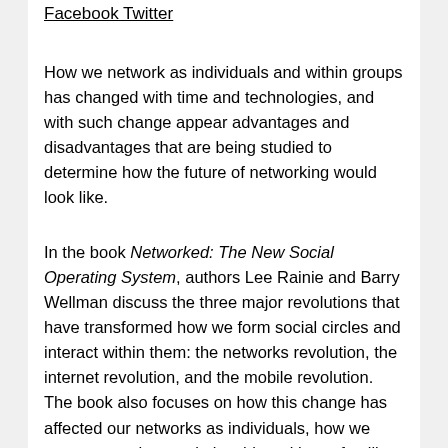Facebook Twitter
How we network as individuals and within groups has changed with time and technologies, and with such change appear advantages and disadvantages that are being studied to determine how the future of networking would look like.
In the book Networked: The New Social Operating System, authors Lee Rainie and Barry Wellman discuss the three major revolutions that have transformed how we form social circles and interact within them: the networks revolution, the internet revolution, and the mobile revolution. The book also focuses on how this change has affected our networks as individuals, how we now approach our relationships with our families, friends, and work mates.